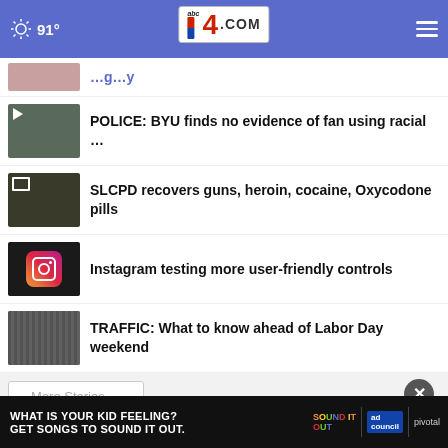91° abc4.com
[Figure (screenshot): Partially visible news thumbnail with pink/green colors]
(partially visible headline text)
[Figure (screenshot): BYU sign thumbnail with play icon]
POLICE: BYU finds no evidence of fan using racial …
[Figure (screenshot): Guns/drugs thumbnail with video icon]
SLCPD recovers guns, heroin, cocaine, Oxycodone pills
[Figure (screenshot): Instagram logo thumbnail]
Instagram testing more user-friendly controls
[Figure (screenshot): Traffic aerial view thumbnail]
TRAFFIC: What to know ahead of Labor Day weekend
More Stories …
[Figure (screenshot): Ad banner: WHAT IS YOUR KID FEELING? GET SONGS TO SOUND IT OUT. Sound It Out / ad council / pivotal]